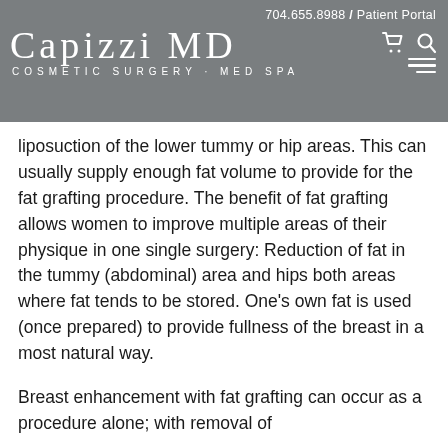704.655.8988 / Patient Portal | CAPIZZI MD | COSMETIC SURGERY · MED SPA
liposuction of the lower tummy or hip areas. This can usually supply enough fat volume to provide for the fat grafting procedure. The benefit of fat grafting allows women to improve multiple areas of their physique in one single surgery: Reduction of fat in the tummy (abdominal) area and hips both areas where fat tends to be stored. One's own fat is used (once prepared) to provide fullness of the breast in a most natural way.
Breast enhancement with fat grafting can occur as a procedure alone; with removal of